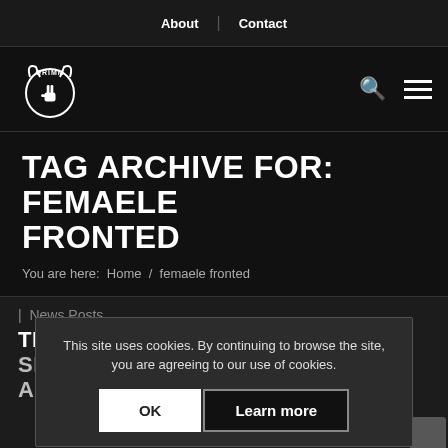About | Contact
[Figure (logo): GRIMM logo with horned symbol and hand sign inside circle]
TAG ARCHIVE FOR: FEMAELE FRONTED
You are here:  Home  /  femaele fronted
News Posts
This site uses cookies. By continuing to browse the site, you are agreeing to our use of cookies.
THE NORWEGIAN METAL BAND SIRENIA PARTS WITH SINGER AILYN